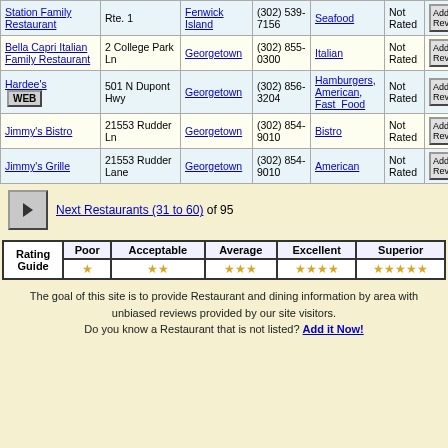| Name | Address | City | Phone | Cuisine | Rating | Review |
| --- | --- | --- | --- | --- | --- | --- |
| Station Family Restaurant | Rte. 1 | Fenwick Island | (302) 539-7156 | Seafood | Not Rated | Add Rev |
| Bella Capri Italian Family Restaurant | 2 College Park Ln | Georgetown | (302) 855-0300 | Italian | Not Rated | Add Rev |
| Hardee's [WEB] | 501 N Dupont Hwy | Georgetown | (302) 856-3204 | Hamburgers, American, Fast_Food | Not Rated | Add Rev |
| Jimmy's Bistro | 21553 Rudder Ln | Georgetown | (302) 854-9010 | Bistro | Not Rated | Add Rev |
| Jimmy's Grille | 21553 Rudder Lane | Georgetown | (302) 854-9010 | American | Not Rated | Add Rev |
Next Restaurants (31 to 60) of 95
| Rating Guide | Poor | Acceptable | Average | Excellent | Superior |
| --- | --- | --- | --- | --- | --- |
|  | ★ | ★★ | ★★★ | ★★★★ | ★★★★★ |
The goal of this site is to provide Restaurant and dining information by area with unbiased reviews provided by our site visitors.
Do you know a Restaurant that is not listed? Add it Now!